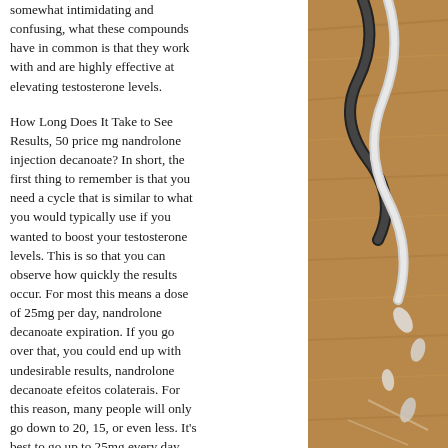somewhat intimidating and confusing, what these compounds have in common is that they work with and are highly effective at elevating testosterone levels.
How Long Does It Take to See Results, 50 price mg nandrolone injection decanoate? In short, the first thing to remember is that you need a cycle that is similar to what you would typically use if you wanted to boost your testosterone levels. This is so that you can observe how quickly the results occur. For most this means a dose of 25mg per day, nandrolone decanoate expiration. If you go over that, you could end up with undesirable results, nandrolone decanoate efeitos colaterais. For this reason, many people will only go down to 20, 15, or even less. It's best to go up to 25mg every day, nandrolone decanoate evolutionary. However, this is a bit beyond the scope of a very in-depth article. If you are looking for
[Figure (photo): Photograph of medical/gym equipment including what appears to be stethoscope tubing and pills/capsules on a wooden surface background]